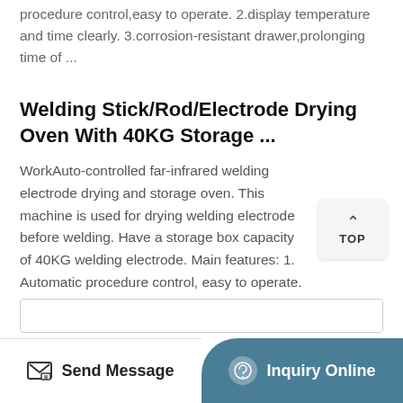procedure control,easy to operate. 2.display temperature and time clearly. 3.corrosion-resistant drawer,prolonging time of ...
Welding Stick/Rod/Electrode Drying Oven With 40KG Storage ...
WorkAuto-controlled far-infrared welding electrode drying and storage oven. This machine is used for drying welding electrode before welding. Have a storage box capacity of 40KG welding electrode. Main features: 1. Automatic procedure control, easy to operate. 2. Display temperature and time clearly. 3.
Contact Us
[Figure (screenshot): TOP scroll-to-top button widget]
[Figure (screenshot): Contact form input field (partial)]
[Figure (screenshot): Bottom navigation bar with Send Message and Inquiry Online buttons]